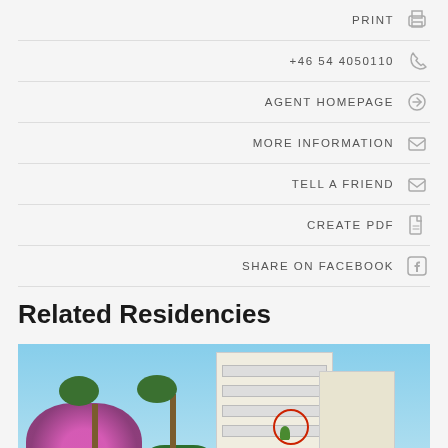PRINT
+46 54 4050110
AGENT HOMEPAGE
MORE INFORMATION
TELL A FRIEND
CREATE PDF
SHARE ON FACEBOOK
Related Residencies
[Figure (photo): Exterior photo of a multi-storey white apartment building surrounded by palm trees and bougainvillea flowers, with a red circle marking a balcony unit]